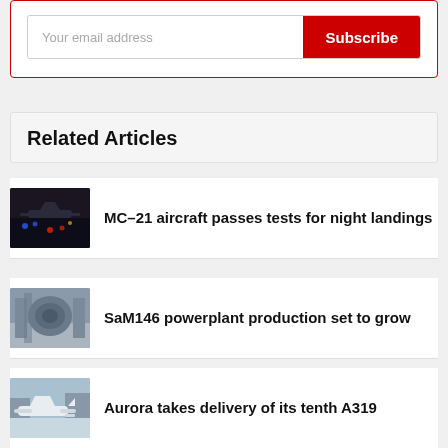[Figure (other): Email subscription form with text input and red Subscribe button inside a red-bordered box]
Related Articles
MC-21 aircraft passes tests for night landings
SaM146 powerplant production set to grow
Aurora takes delivery of its tenth A319